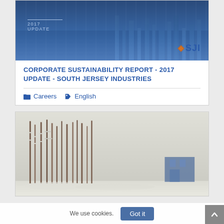[Figure (screenshot): Report cover image with blue gradient background, '2017 UPDATE' label, and SJI logo in bottom right corner]
CORPORATE SUSTAINABILITY REPORT - 2017 UPDATE - SOUTH JERSEY INDUSTRIES
Careers  English
[Figure (photo): Winter forest scene with bare trees covered in snow on left side, snowy landscape, and a building or structure visible on the right]
We use cookies.  Got it